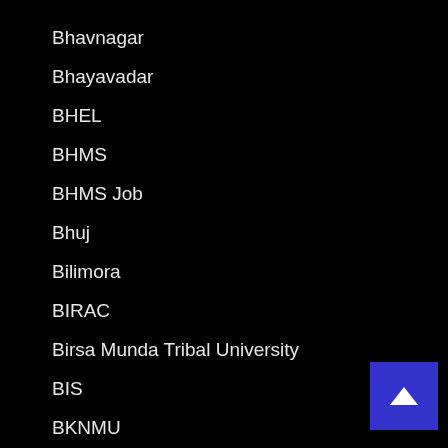Bhavnagar
Bhayavadar
BHEL
BHMS
BHMS Job
Bhuj
Bilimora
BIRAC
Birsa Munda Tribal University
BIS
BKNMU
BMC
BMU
BOB
BOB | Bank Of Baroda